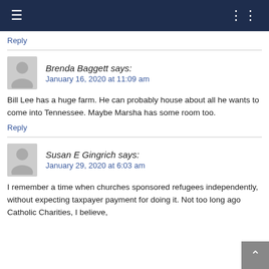≡  ☰ list icon
Reply
Brenda Baggett says:
January 16, 2020 at 11:09 am
Bill Lee has a huge farm. He can probably house about all he wants to come into Tennessee. Maybe Marsha has some room too.
Reply
Susan E Gingrich says:
January 29, 2020 at 6:03 am
I remember a time when churches sponsored refugees independently, without expecting taxpayer payment for doing it. Not too long ago Catholic Charities, I believe,